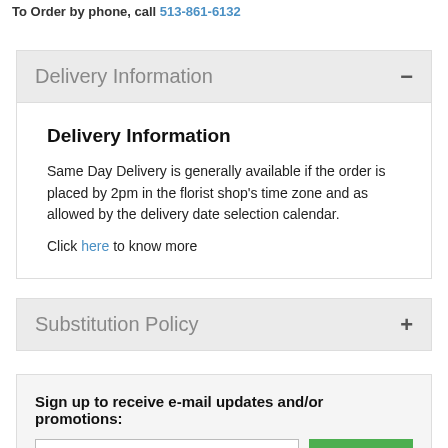To Order by phone, call 513-861-6132
Delivery Information
Delivery Information
Same Day Delivery is generally available if the order is placed by 2pm in the florist shop's time zone and as allowed by the delivery date selection calendar.
Click here to know more
Substitution Policy
Sign up to receive e-mail updates and/or promotions: